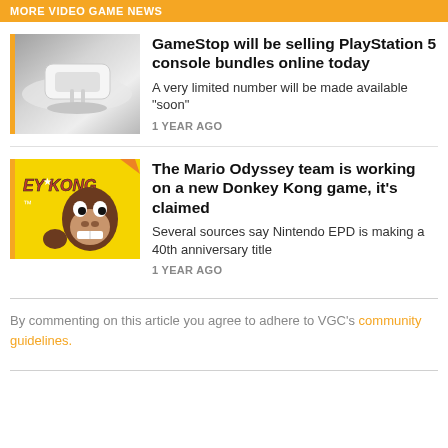MORE VIDEO GAME NEWS
GameStop will be selling PlayStation 5 console bundles online today
A very limited number will be made available "soon"
1 YEAR AGO
The Mario Odyssey team is working on a new Donkey Kong game, it's claimed
Several sources say Nintendo EPD is making a 40th anniversary title
1 YEAR AGO
By commenting on this article you agree to adhere to VGC's community guidelines.